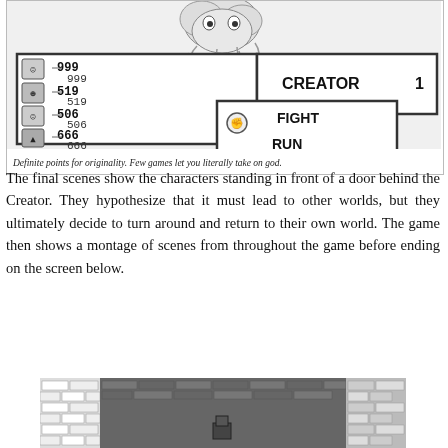[Figure (screenshot): Retro video game battle screen showing four party members with HP values (999/999, 519/519, 506/506, 666/666) facing the CREATOR with options FIGHT and RUN. A boss character is shown at the top.]
Definite points for originality. Few games let you literally take on god.
The final scenes show the characters standing in front of a door behind the Creator. They hypothesize that it must lead to other worlds, but they ultimately decide to turn around and return to their own world. The game then shows a montage of scenes from throughout the game before ending on the screen below.
[Figure (screenshot): Retro video game scene showing a brick wall corridor with a character standing in the middle.]